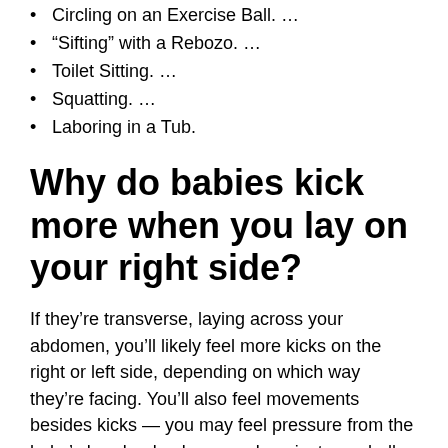Circling on an Exercise Ball. …
“Sifting” with a Rebozo. …
Toilet Sitting. …
Squatting. …
Laboring in a Tub.
Why do babies kick more when you lay on your right side?
If they’re transverse, laying across your abdomen, you’ll likely feel more kicks on the right or left side, depending on which way they’re facing. You’ll also feel movements besides kicks — you may feel pressure from the baby’s head or back pressed against your belly.